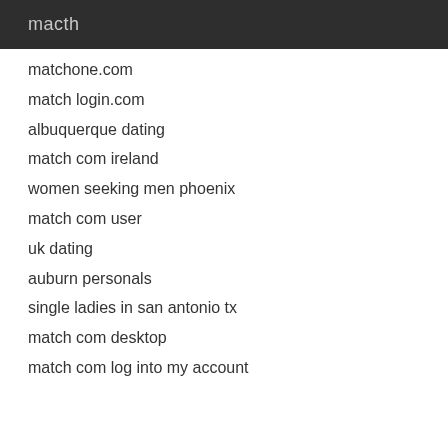macth
matchone.com
match login.com
albuquerque dating
match com ireland
women seeking men phoenix
match com user
uk dating
auburn personals
single ladies in san antonio tx
match com desktop
match com log into my account